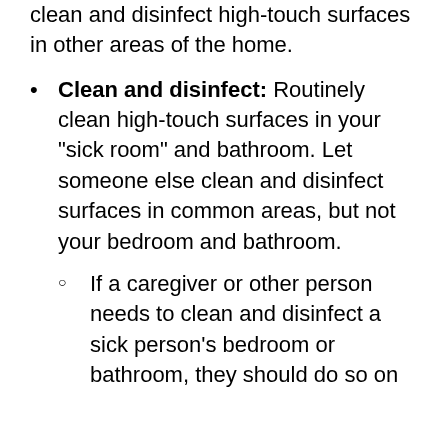clean and disinfect high-touch surfaces in other areas of the home.
Clean and disinfect: Routinely clean high-touch surfaces in your “sick room” and bathroom. Let someone else clean and disinfect surfaces in common areas, but not your bedroom and bathroom.
If a caregiver or other person needs to clean and disinfect a sick person’s bedroom or bathroom, they should do so on